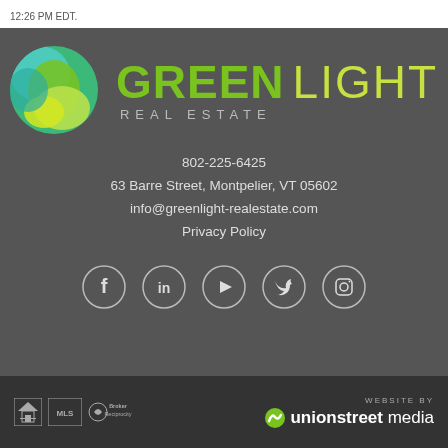12:26 PM EDT.
[Figure (logo): Green Light Real Estate logo with green sphere icon and text 'GREEN LIGHT REAL ESTATE']
802-225-6425
63 Barre Street, Montpelier, VT 05602
info@greenlight-realestate.com
Privacy Policy
[Figure (infographic): Social media icons in circles: Facebook, LinkedIn, YouTube, Twitter, Instagram]
[Figure (logo): Footer with equal housing, MLS, Broker Reciprocity logos on left; 'WEBSITE BY unionstreet media' on right]